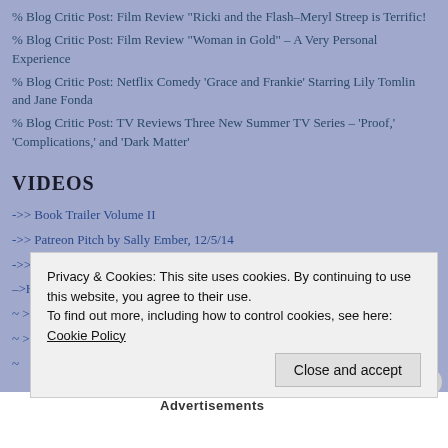% Blog Critic Post: Film Review "Ricki and the Flash–Meryl Streep is Terrific!
% Blog Critic Post: Film Review "Woman in Gold" – A Very Personal Experience
% Blog Critic Post: Netflix Comedy ‘Grace and Frankie’ Starring Lily Tomlin and Jane Fonda
% Blog Critic Post: TV Reviews Three New Summer TV Series – ‘Proof,’ ‘Complications,’ and ‘Dark Matter’
VIDEOS
->> Book Trailer Volume II
->> Patreon Pitch by Sally Ember, 12/5/14
->> Sally’s #Crowdfunding Song
–>Hayley’s Reviews LOVES TCE!
~ >> Book Trailer for "This Changes Everything"
~ >> Book Trailer for Multiverse aspects "This Changes Everything"
Privacy & Cookies: This site uses cookies. By continuing to use this website, you agree to their use.
To find out more, including how to control cookies, see here: Cookie Policy
Close and accept
Advertisements